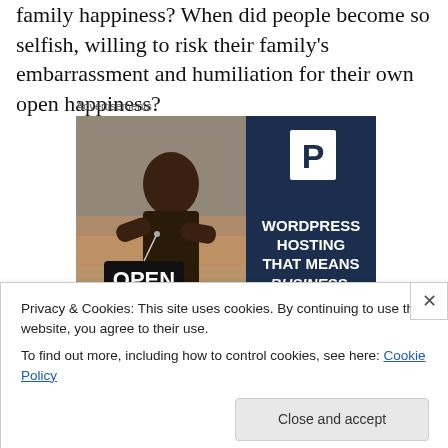family happiness? When did people become so selfish, willing to risk their family's embarrassment and humiliation for their own open happiness?
[Figure (illustration): Advertisement banner showing a smiling woman holding an 'OPEN' sign on the left (photo), and on the right a dark navy blue background with a white 'P' letter logo and the text 'WORDPRESS HOSTING THAT MEANS BUSINESS.' in white bold/italic letters.]
Privacy & Cookies: This site uses cookies. By continuing to use this website, you agree to their use.
To find out more, including how to control cookies, see here: Cookie Policy